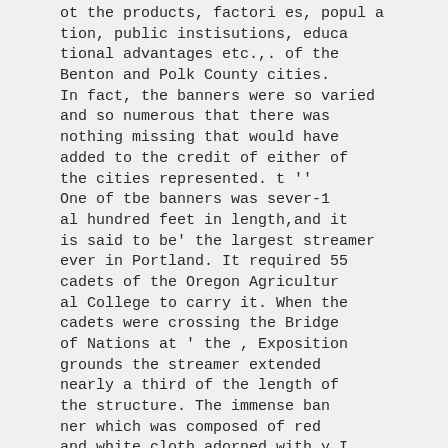ot the products, factories, population, public instisutions, educational advantages etc.,. of the Benton and Polk County cities. In fact, the banners were so varied and so numerous that there was nothing missing that would have added to the credit of either of the cities represented. t '' One of tbe banners was sever-1 al hundred feet in length,and it is said to be' the largest streamer ever in Portland. It required 55 cadets of the Oregon Agricultural College to carry it. When the cadets were crossing the Bridge of Nations at ' the , Exposition grounds the streamer extended nearly a third of the length of the structure. The immense banner which was composed of red and white cloth adorned with y I low ribbons from the staffs wnicr supported it, enumerated th wonderful advantages of Coryt -lis.